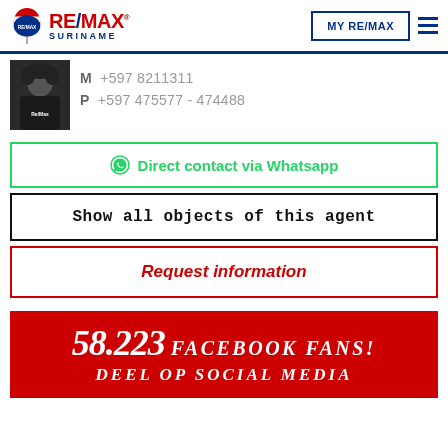[Figure (logo): RE/MAX Suriname logo with balloon icon, MY RE/MAX button, and hamburger menu in header]
M +597 8211311
P +597 475577 - 474488
Direct contact via Whatsapp
Show all objects of this agent
Request information
58.223 FACEBOOK FANS! DEEL OP SOCIAL MEDIA